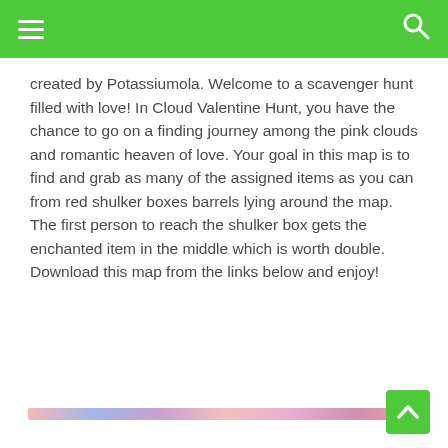Navigation header with hamburger menu and search icon
created by Potassiumola. Welcome to a scavenger hunt filled with love! In Cloud Valentine Hunt, you have the chance to go on a finding journey among the pink clouds and romantic heaven of love. Your goal in this map is to find and grab as many of the assigned items as you can from red shulker boxes barrels lying around the map. The first person to reach the shulker box gets the enchanted item in the middle which is worth double. Download this map from the links below and enjoy!
[Figure (photo): A narrow horizontal image strip showing a colorful scene with pink, blue, and purple tones, likely a preview of the Cloud Valentine Hunt Minecraft map.]